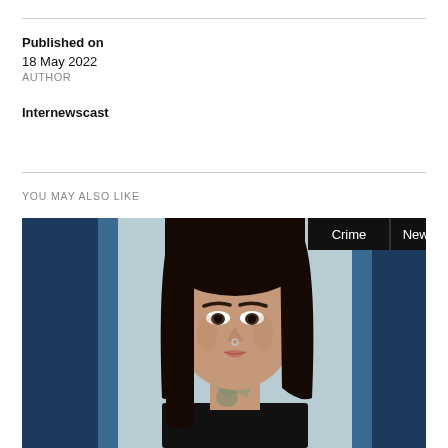Published on
18 May 2022
AUTHOR
Internewscast
YOU MAY ALSO LIKE
[Figure (photo): Mugshot-style photo of a young woman with dark hair, a nose ring, and a neck tattoo, against a blue background. Overlaid tags read 'Crime' and 'News' in white text on black backgrounds.]